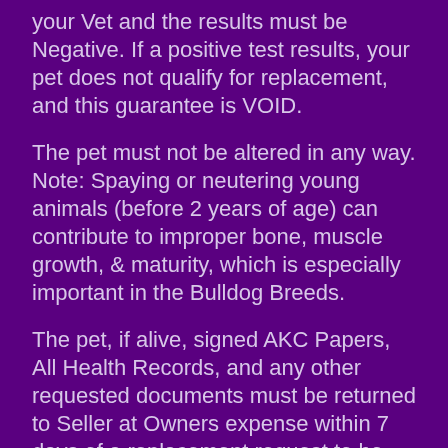your Vet and the results must be Negative. If a positive test results, your pet does not qualify for replacement, and this guarantee is VOID.
The pet must not be altered in any way. Note: Spaying or neutering young animals (before 2 years of age) can contribute to improper bone, muscle growth, & maturity, which is especially important in the Bulldog Breeds.
The pet, if alive, signed AKC Papers, All Health Records, and any other requested documents must be returned to Seller at Owners expense within 7 days of a replacement request to be eligible for a replacement.
Return to Seller within 7 days of a replacement...